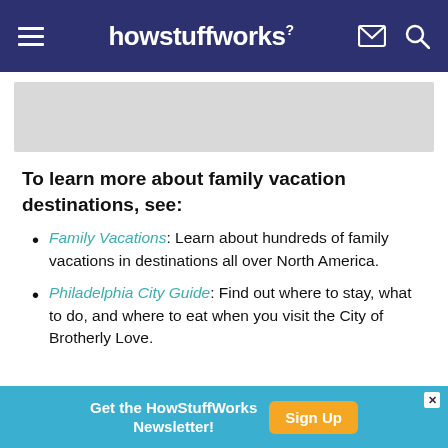howstuffworks
[Figure (other): Gray advertisement placeholder banner]
To learn more about family vacation destinations, see:
Family Vacations: Learn about hundreds of family vacations in destinations all over North America.
Philadelphia City Guide: Find out where to stay, what to do, and where to eat when you visit the City of Brotherly Love.
[Figure (other): Bottom advertisement banner: Get the HowStuffWorks Newsletter! Sign Up button]